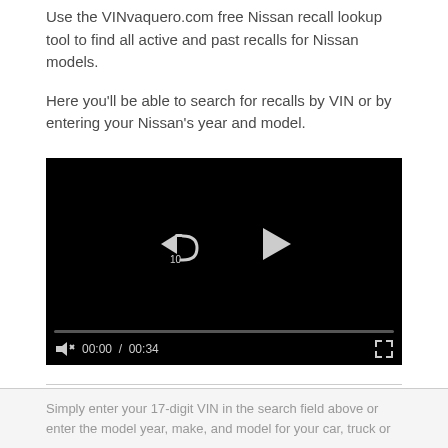Use the VINvaquero.com free Nissan recall lookup tool to find all active and past recalls for Nissan models.
Here you'll be able to search for recalls by VIN or by entering your Nissan's year and model.
[Figure (screenshot): Embedded video player with black background showing video controls: a rewind 10 seconds button, a play button, a progress bar, mute button, time display '00:00 / 00:34', and a fullscreen button.]
Simply enter your 17-digit VIN in the search field above or enter the model year, make, and model for your car, truck or